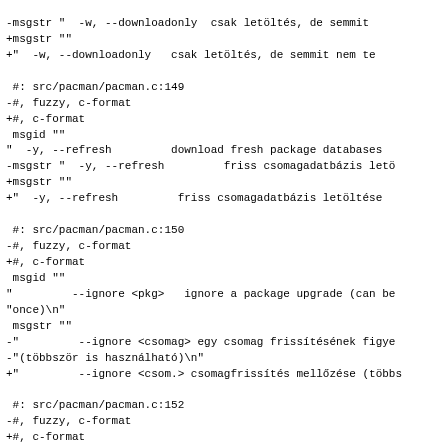-msgstr "  -w, --downloadonly  csak letöltés, de semmit
+msgstr ""
+"  -w, --downloadonly   csak letöltés, de semmit nem te

 #: src/pacman/pacman.c:149
-#, fuzzy, c-format
+#, c-format
 msgid ""
 "  -y, --refresh         download fresh package databases
-msgstr "  -y, --refresh         friss csomagadatbázis letö
+msgstr ""
+"  -y, --refresh         friss csomagadatbázis letöltése

 #: src/pacman/pacman.c:150
-#, fuzzy, c-format
+#, c-format
 msgid ""
 "         --ignore <pkg>   ignore a package upgrade (can be
 "once)\n"
 msgstr ""
-"         --ignore <csomag> egy csomag frissítésének figye
-"(többször is használható)\n"
+"         --ignore <csom.> csomagfrissítés mellőzése (többs

 #: src/pacman/pacman.c:152
-#, fuzzy, c-format
+#, c-format
 msgid "         --config <path>  set an alternate configura
-msgstr "         --config <útvonal> alternatív konfigurácio
+msgstr "         --config <útv.>  alternatív konfigurációs